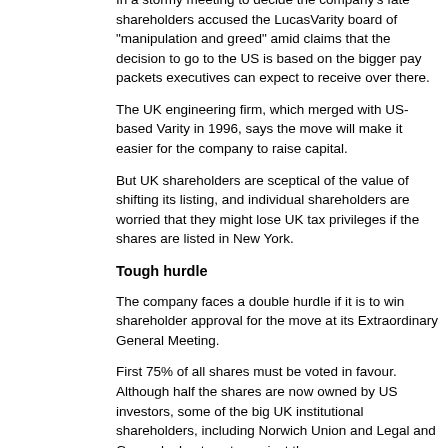In a stormy meeting to decide the company's fate shareholders accused the LucasVarity board of "manipulation and greed" amid claims that the decision to go to the US is based on the bigger pay packets executives can expect to receive over there.
The UK engineering firm, which merged with US-based Varity in 1996, says the move will make it easier for the company to raise capital.
But UK shareholders are sceptical of the value of shifting its listing, and individual shareholders are worried that they might lose UK tax privileges if the shares are listed in New York.
Tough hurdle
The company faces a double hurdle if it is to win shareholder approval for the move at its Extraordinary General Meeting.
First 75% of all shares must be voted in favour. Although half the shares are now owned by US investors, some of the big UK institutional shareholders, including Norwich Union and Legal and General, plan to vote against the move.
Secondly, the company needs to win an outright majority of 50% of those who vote, despite the size of their shareholding. This could give the 18,000 individual investors the power to block the deal.